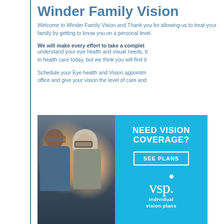Winder Family Vision
Welcome to Winder Family Vision and Thank you for allowing us to treat your family by getting to know you on a personal level.
We will make every effort to take a complete history of your eye health to understand your eye health and visual needs, but we think you will find it in health care today, but we think you will find it
Schedule your Eye health and Vision appointment at our office and give your vision the level of care and
[Figure (photo): Advertisement showing a couple wearing glasses (man with dark skin and glasses, woman with blonde/gray hair and glasses) beside a blue VSP individual vision plans ad with 'NEED VISION COVERAGE?' headline and 'SEE PLANS' button]